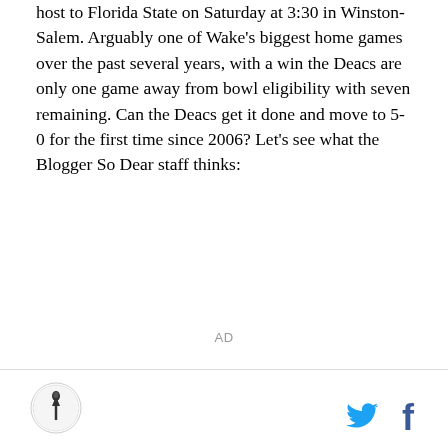host to Florida State on Saturday at 3:30 in Winston-Salem. Arguably one of Wake's biggest home games over the past several years, with a win the Deacs are only one game away from bowl eligibility with seven remaining. Can the Deacs get it done and move to 5-0 for the first time since 2006? Let's see what the Blogger So Dear staff thinks:
AD
logo | twitter | facebook